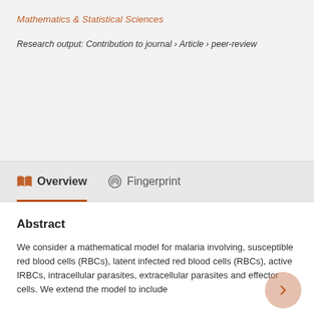Mathematics & Statistical Sciences
Research output: Contribution to journal › Article › peer-review
Overview   Fingerprint
Abstract
We consider a mathematical model for malaria involving, susceptible red blood cells (RBCs), latent infected red blood cells (RBCs), active IRBCs, intracellular parasites, extracellular parasites and effector cells. We extend the model to include